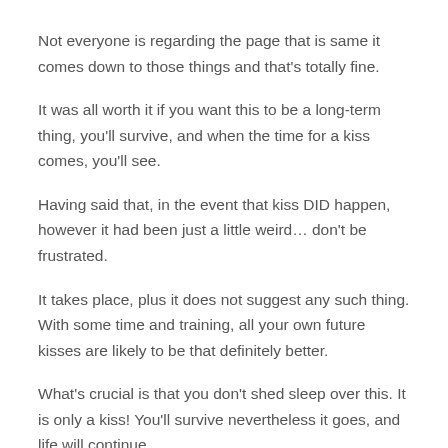Not everyone is regarding the page that is same it comes down to those things and that's totally fine.
It was all worth it if you want this to be a long-term thing, you'll survive, and when the time for a kiss comes, you'll see.
Having said that, in the event that kiss DID happen, however it had been just a little weird… don't be frustrated.
It takes place, plus it does not suggest any such thing. With some time and training, all your own future kisses are likely to be that definitely better.
What's crucial is that you don't shed sleep over this. It is only a kiss! You'll survive nevertheless it goes, and life will continue.
As your dates go by, you'll be more in sync utilizing the individual, and you won't be as uncertain as you're now.